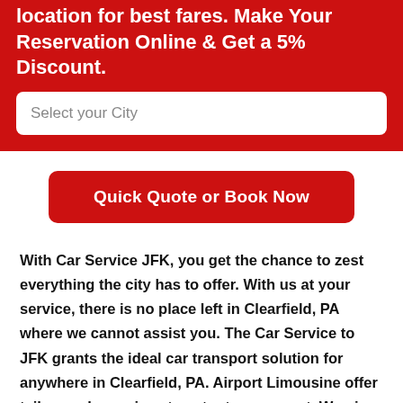location for best fares. Make Your Reservation Online & Get a 5% Discount.
Select your City
Quick Quote or Book Now
With Car Service JFK, you get the chance to zest everything the city has to offer. With us at your service, there is no place left in Clearfield, PA where we cannot assist you. The Car Service to JFK grants the ideal car transport solution for anywhere in Clearfield, PA. Airport Limousine offer tailor-made services to cater to our guest. We give the best in class experience.